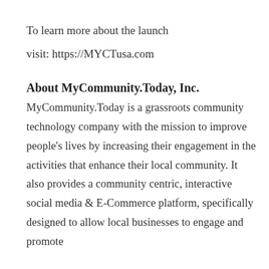To learn more about the launch
visit: https://MYCTusa.com
About MyCommunity.Today, Inc.
MyCommunity.Today is a grassroots community technology company with the mission to improve people’s lives by increasing their engagement in the activities that enhance their local community. It also provides a community centric, interactive social media & E-Commerce platform, specifically designed to allow local businesses to engage and promote